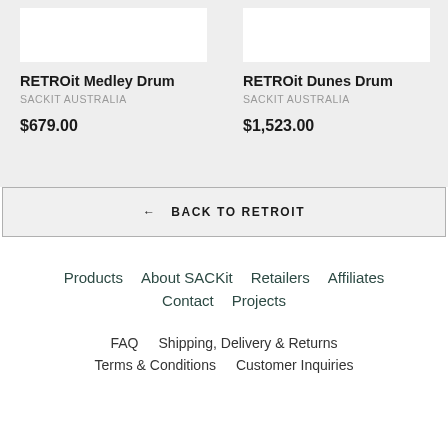RETROit Medley Drum
SACKIT AUSTRALIA
$679.00
RETROit Dunes Drum
SACKIT AUSTRALIA
$1,523.00
← BACK TO RETROIT
Products
About SACKit
Retailers
Affiliates
Contact
Projects
FAQ
Shipping, Delivery & Returns
Terms & Conditions
Customer Inquiries